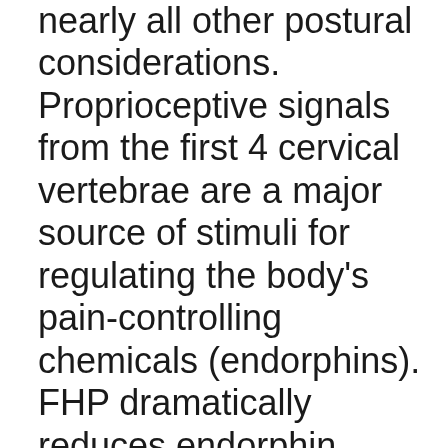nearly all other postural considerations. Proprioceptive signals from the first 4 cervical vertebrae are a major source of stimuli for regulating the body's pain-controlling chemicals (endorphins). FHP dramatically reduces endorphin